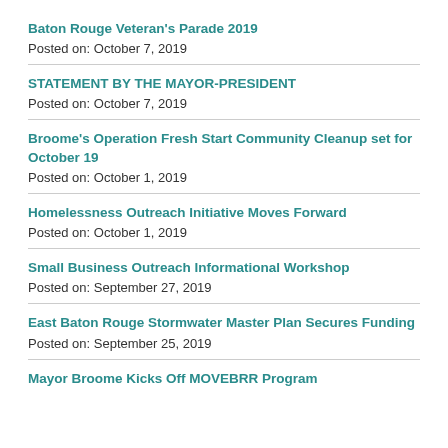Baton Rouge Veteran's Parade 2019
Posted on: October 7, 2019
STATEMENT BY THE MAYOR-PRESIDENT
Posted on: October 7, 2019
Broome's Operation Fresh Start Community Cleanup set for October 19
Posted on: October 1, 2019
Homelessness Outreach Initiative Moves Forward
Posted on: October 1, 2019
Small Business Outreach Informational Workshop
Posted on: September 27, 2019
East Baton Rouge Stormwater Master Plan Secures Funding
Posted on: September 25, 2019
Mayor Broome Kicks Off MOVEBRR Program